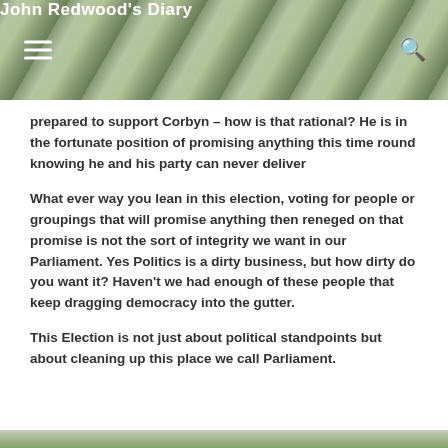John Redwood's Diary
prepared to support Corbyn – how is that rational? He is in the fortunate position of promising anything this time round knowing he and his party can never deliver
What ever way you lean in this election, voting for people or groupings that will promise anything then reneged on that promise is not the sort of integrity we want in our Parliament. Yes Politics is a dirty business, but how dirty do you want it? Haven't we had enough of these people that keep dragging democracy into the gutter.
This Election is not just about political standpoints but about cleaning up this place we call Parliament.